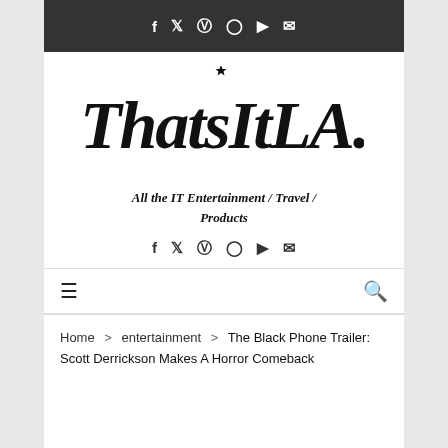Social icons: f, twitter, instagram, pinterest, youtube, mail
[Figure (logo): ThatsItLA handwritten script logo]
All the IT Entertainment / Travel / Products
Social icons: f, twitter, instagram, pinterest, youtube, mail
Hamburger menu icon and search icon navigation bar
Home > entertainment > The Black Phone Trailer: Scott Derrickson Makes A Horror Comeback